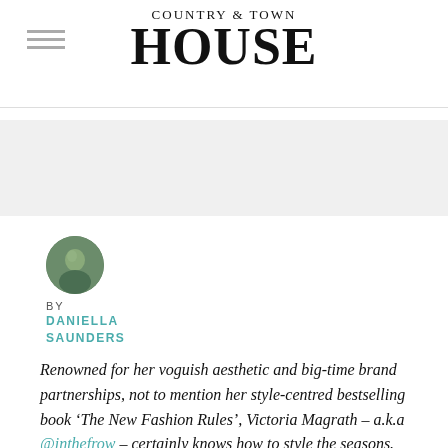[Figure (logo): Country & Town House magazine logo with 'COUNTRY & TOWN' in small caps above large bold 'HOUSE' text]
[Figure (photo): Circular author avatar photo of Daniella Saunders]
BY
DANIELLA SAUNDERS
Renowned for her voguish aesthetic and big-time brand partnerships, not to mention her style-centred bestselling book ‘The New Fashion Rules’, Victoria Magrath – a.k.a @inthefrow – certainly knows how to style the seasons. This autumn, she’s teamed up with luxury British brand